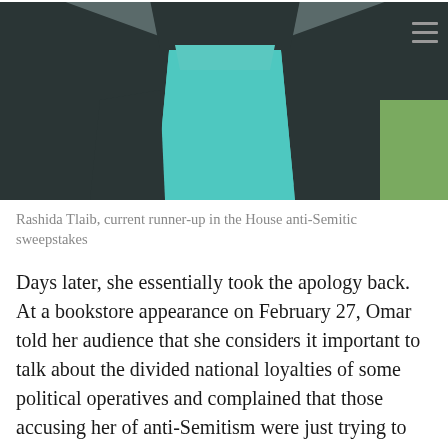[Figure (photo): Cropped photo of a person wearing a teal/turquoise top and dark jacket, photo cut off at torso level, with a menu/hamburger icon in the top right corner]
Rashida Tlaib, current runner-up in the House anti-Semitic sweepstakes
Days later, she essentially took the apology back. At a bookstore appearance on February 27, Omar told her audience that she considers it important to talk about the divided national loyalties of some political operatives and complained that those accusing her of anti-Semitism were just trying to keep her from introducing that discussion. Yet again Omar was in hot water: accusing American Jews of double allegiance is an old and familiar anti-Semitic trope. In any event,